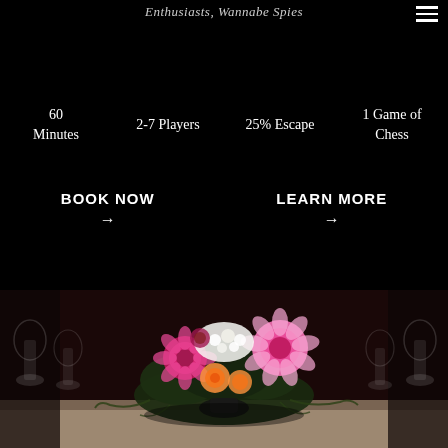Enthusiasts, Wannabe Spies
60 Minutes
2-7 Players
25% Escape
1 Game of Chess
BOOK NOW →
LEARN MORE →
[Figure (photo): A floral centerpiece arrangement on a dinner table with pink, magenta, and white flowers surrounded by dark foliage, with wine glasses visible in the background on a light-colored tablecloth.]